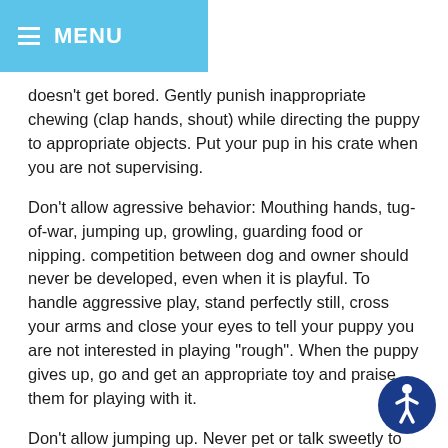MENU
doesn't get bored. Gently punish inappropriate chewing (clap hands, shout) while directing the puppy to appropriate objects. Put your pup in his crate when you are not supervising.
Don't allow agressive behavior: Mouthing hands, tug-of-war, jumping up, growling, guarding food or nipping. competition between dog and owner should never be developed, even when it is playful. To handle aggressive play, stand perfectly still, cross your arms and close your eyes to tell your puppy you are not interested in playing "rough". When the puppy gives up, go and get an appropriate toy and praise them for playing with it.
Don't allow jumping up. Never pet or talk sweetly to that has only two feet on the ground. Turn away and ignore